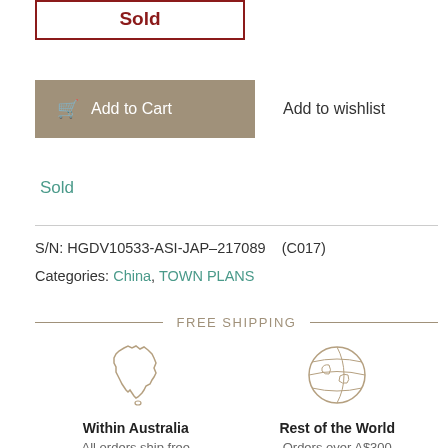Sold
Add to Cart
Add to wishlist
Sold
S/N: HGDV10533-ASI-JAP–217089    (C017)
Categories: China, TOWN PLANS
FREE SHIPPING
[Figure (illustration): Outline icon of Australia map]
Within Australia
All orders ship free within Australia
[Figure (illustration): Outline icon of globe/world]
Rest of the World
Orders over A$300 ship free worldwide